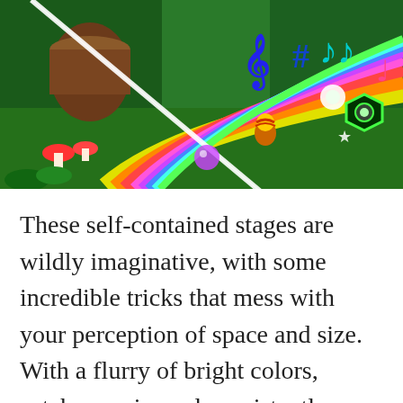[Figure (screenshot): A colorful video game screenshot showing a vibrant green environment with a rainbow slide/ramp, a cartoon character, musical notes (treble clef, sharp sign, eighth notes) in blue and teal floating in the air, glowing neon green hexagonal speaker, mushrooms, and bright lighting effects.]
These self-contained stages are wildly imaginative, with some incredible tricks that mess with your perception of space and size. With a flurry of bright colors, catchy music, and consistently intriguing stage design, each brain-based level is a